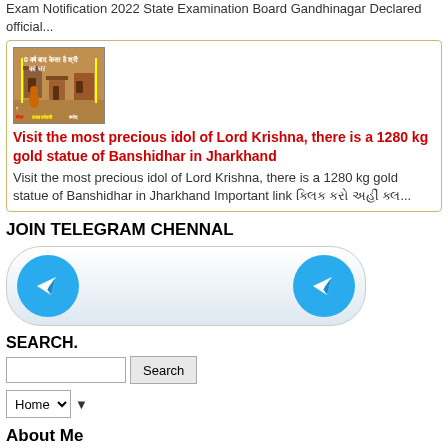Exam Notification 2022 State Examination Board Gandhinagar Declared official...
[Figure (photo): Thumbnail image with Hindi text overlay showing a building/house scene with text labels in Hindi including yellow and red colored text]
Visit the most precious idol of Lord Krishna, there is a 1280 kg gold statue of Banshidhar in Jharkhand
Visit the most precious idol of Lord Krishna, there is a 1280 kg gold statue of Banshidhar in Jharkhand Important link ક્લિક કરો અહીં ક્લ...
JOIN TELEGRAM CHENNAL
[Figure (illustration): Telegram button with two Telegram icons (paper plane on blue circle) on a rounded rectangular gradient button]
SEARCH.
Search input box with Search button
Home dropdown with arrow
About Me